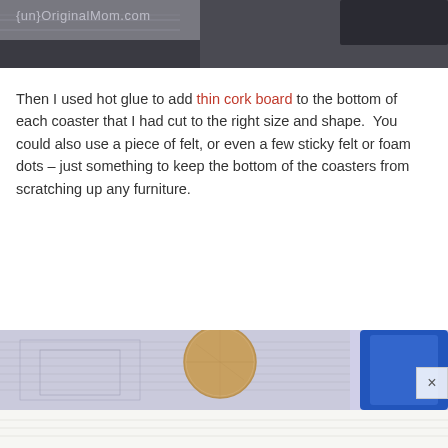[Figure (photo): Top portion of a photo showing crafting materials with a dark background, partially cut off]
{un}OriginalMom.com
Then I used hot glue to add thin cork board to the bottom of each coaster that I had cut to the right size and shape.  You could also use a piece of felt, or even a few sticky felt or foam dots – just something to keep the bottom of the coasters from scratching up any furniture.
[Figure (photo): Photo showing craft coasters with cork board backing on a table with papers and a blue object visible, plus a partial lower strip image]
×